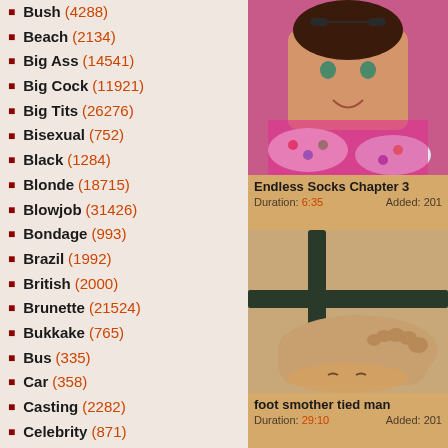Bush (4288)
Beach (2134)
Big Ass (14541)
Big Cock (11921)
Big Tits (26276)
Bisexual (752)
Black (1284)
Blonde (18715)
Blowjob (31426)
Bondage (993)
Brazil (1992)
British (2000)
Brunette (21524)
Bukkake (765)
Bus (335)
Car (358)
Casting (2282)
Celebrity (871)
Cfnm (202)
College (2097)
Compilation (2675)
[Figure (photo): Video thumbnail showing a young woman in colorful socks and pink clothing]
Endless Socks Chapter 3
Duration: 6:35  Added: 201
[Figure (photo): Video thumbnail showing a foot smother scene]
foot smother tied man
Duration: 29:10  Added: 201